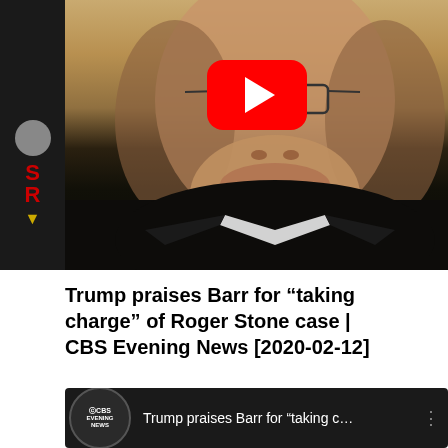[Figure (screenshot): YouTube video thumbnail showing a man in a dark uniform with glasses making a pensive expression. A red YouTube play button overlay is visible in the upper center. A dark sidebar on the left shows partial CBS branding with red 'S' and 'R' letters and a gold arrow.]
Trump praises Barr for “taking charge” of Roger Stone case | CBS Evening News [2020-02-12]
[Figure (screenshot): YouTube video player bar at bottom showing CBS Evening News channel icon with the truncated title 'Trump praises Barr for "taking c...' and a three-dot menu icon on the right.]